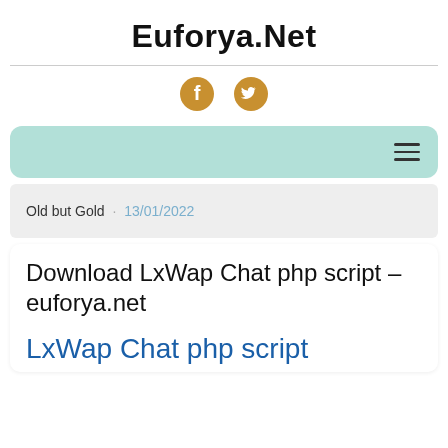Euforya.Net
[Figure (illustration): Social media icons: Facebook (gold circle with 'f') and Twitter (gold bird icon)]
Navigation menu bar with hamburger icon
Old but Gold · 13/01/2022
Download LxWap Chat php script – euforya.net
LxWap Chat php script